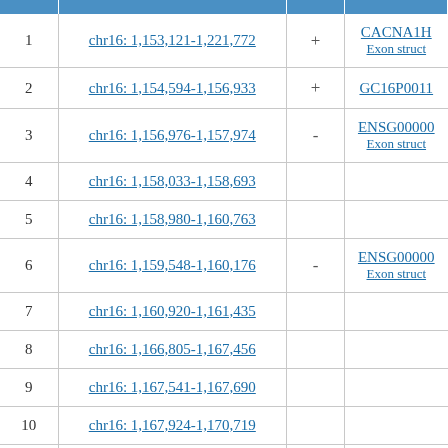|  | Location | Strand | Gene |
| --- | --- | --- | --- |
| 1 | chr16: 1,153,121-1,221,772 | + | CACNA1H
Exon struct |
| 2 | chr16: 1,154,594-1,156,933 | + | GC16P0011 |
| 3 | chr16: 1,156,976-1,157,974 | - | ENSG00000
Exon struct |
| 4 | chr16: 1,158,033-1,158,693 |  |  |
| 5 | chr16: 1,158,980-1,160,763 |  |  |
| 6 | chr16: 1,159,548-1,160,176 | - | ENSG00000
Exon struct |
| 7 | chr16: 1,160,920-1,161,435 |  |  |
| 8 | chr16: 1,166,805-1,167,456 |  |  |
| 9 | chr16: 1,167,541-1,167,690 |  |  |
| 10 | chr16: 1,167,924-1,170,719 |  |  |
| 11 | chr16: 1,172,174-1,172,309 |  |  |